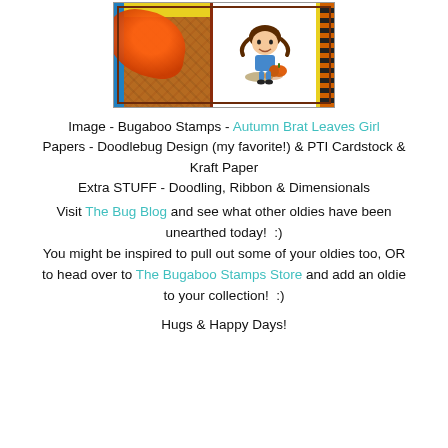[Figure (photo): Craft card with autumn theme showing orange ribbon on patterned paper background and a cartoon girl with pumpkin on white panel, surrounded by decorative border]
Image - Bugaboo Stamps - Autumn Brat Leaves Girl
Papers - Doodlebug Design (my favorite!) & PTI Cardstock & Kraft Paper
Extra STUFF - Doodling, Ribbon & Dimensionals
Visit The Bug Blog and see what other oldies have been unearthed today!  :)
You might be inspired to pull out some of your oldies too, OR to head over to The Bugaboo Stamps Store and add an oldie to your collection!  :)
Hugs & Happy Days!